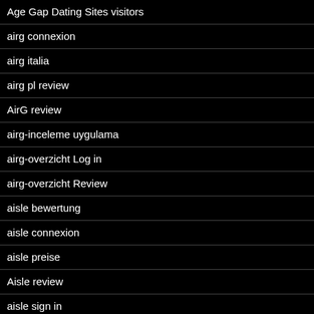Age Gap Dating Sites visitors
airg connexion
airg italia
airg pl review
AirG review
airg-inceleme uygulama
airg-overzicht Log in
airg-overzicht Review
aisle bewertung
aisle connexion
aisle preise
Aisle review
aisle sign in